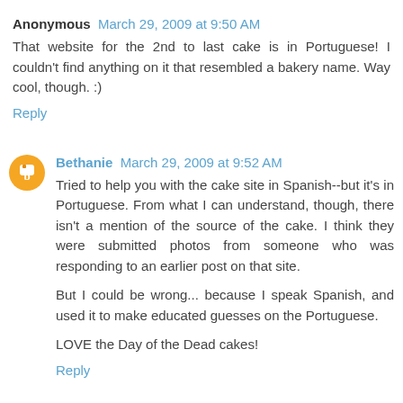Anonymous  March 29, 2009 at 9:50 AM
That website for the 2nd to last cake is in Portuguese! I couldn't find anything on it that resembled a bakery name. Way cool, though. :)
Reply
Bethanie  March 29, 2009 at 9:52 AM
Tried to help you with the cake site in Spanish--but it's in Portuguese. From what I can understand, though, there isn't a mention of the source of the cake. I think they were submitted photos from someone who was responding to an earlier post on that site.
But I could be wrong... because I speak Spanish, and used it to make educated guesses on the Portuguese.
LOVE the Day of the Dead cakes!
Reply